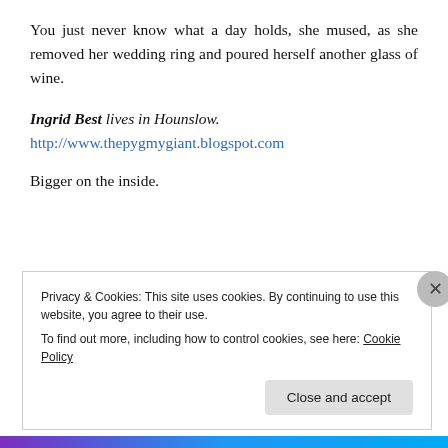You just never know what a day holds, she mused, as she removed her wedding ring and poured herself another glass of wine.
Ingrid Best lives in Hounslow.
http://www.thepygmygiant.blogspot.com
Bigger on the inside.
Privacy & Cookies: This site uses cookies. By continuing to use this website, you agree to their use. To find out more, including how to control cookies, see here: Cookie Policy
Close and accept